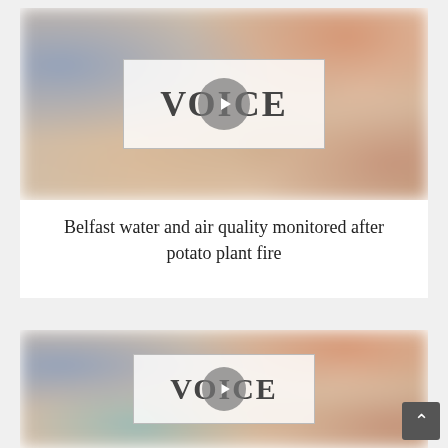[Figure (screenshot): Video thumbnail showing blurred colorful background with a white semi-transparent overlay box containing the VOICE logo and a play button circle in the center]
Belfast water and air quality monitored after potato plant fire
[Figure (screenshot): Second video thumbnail showing blurred colorful background with a white semi-transparent overlay box containing the VOICE logo and a play button circle in the center (partially visible)]